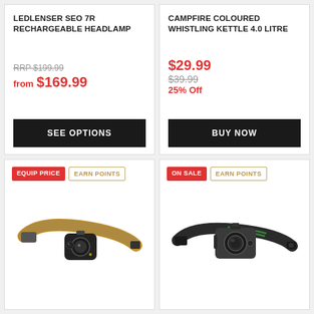LEDLENSER SEO 7R RECHARGEABLE HEADLAMP
RRP $199.99
from $169.99
SEE OPTIONS
CAMPFIRE COLOURED WHISTLING KETTLE 4.0 LITRE
$29.99
$39.99
25% Off
BUY NOW
EQUIP PRICE
EARN POINTS
[Figure (photo): Headlamp with orange/grey strap, black light housing with dual LEDs]
ON SALE
EARN POINTS
[Figure (photo): Dark grey headlamp with black strap and green accent, circular lens]